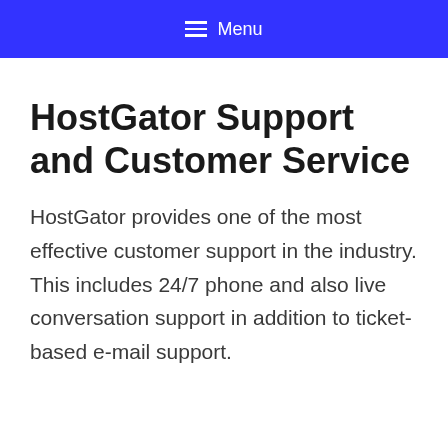☰ Menu
HostGator Support and Customer Service
HostGator provides one of the most effective customer support in the industry. This includes 24/7 phone and also live conversation support in addition to ticket-based e-mail support.